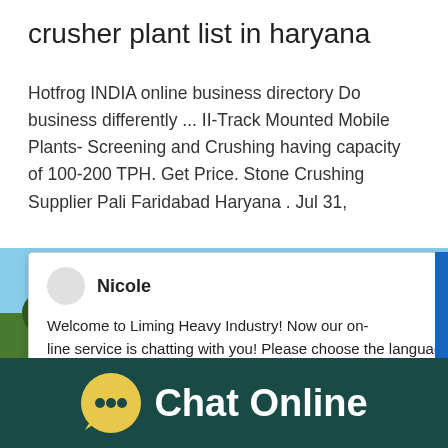crusher plant list in haryana
Hotfrog INDIA online business directory Do business differently ... II-Track Mounted Mobile Plants- Screening and Crushing having capacity of 100-200 TPH. Get Price. Stone Crushing Supplier Pali Faridabad Haryana . Jul 31,
[Figure (screenshot): Chat popup widget with avatar for Nicole saying: Welcome to Liming Heavy Industry! Now our online service is chatting with you! Please choose the language]
[Figure (photo): Crusher machine image with blue notification badge showing '1' and 'Click me to chat>>' button]
[Figure (photo): Landscape photo showing blue sky and green trees]
[Figure (infographic): Dark teal footer bar with yellow speech bubble icon and white text reading 'Chat Online']